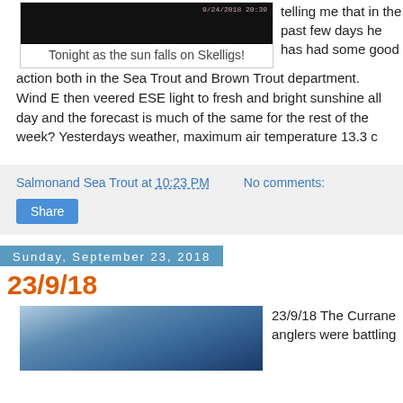[Figure (photo): Dark night sky photo with timestamp 9/24/2018 20:39]
Tonight as the sun falls on Skelligs!
telling me that in the past few days he has had some good action both in the Sea Trout and Brown Trout department. Wind E then veered ESE light to fresh and bright sunshine all day and the forecast is much of the same for the rest of the week? Yesterdays weather, maximum air temperature 13.3 c
Salmonand Sea Trout at 10:23 PM   No comments:
Share
Sunday, September 23, 2018
23/9/18
[Figure (photo): Sky with clouds photo]
23/9/18 The Currane anglers were battling